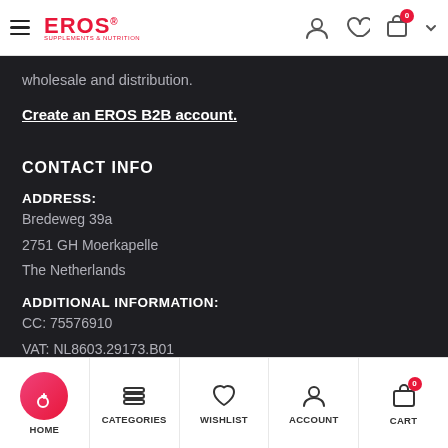EROS Supplements & Nutrition — navigation header
wholesale and distribution.
Create an EROS B2B account.
CONTACT INFO
ADDRESS:
Bredeweg 39a
2751 GH Moerkapelle
The Netherlands
ADDITIONAL INFORMATION:
CC: 75576910
VAT: NL8603.29173.B01
IBAN: NL93INGB0009496295
HOME | CATEGORIES | WISHLIST | ACCOUNT | CART